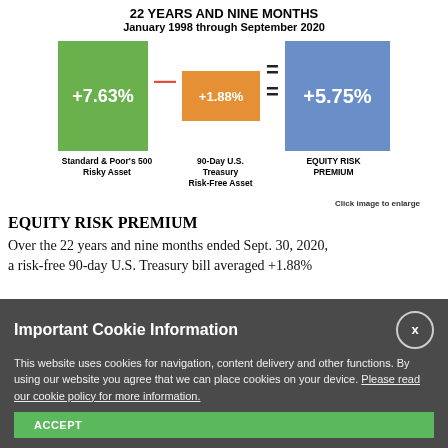22 YEARS AND NINE MONTHS
January 1998 through September 2020
[Figure (infographic): Equity risk premium infographic: S&P 500 green box showing +7.63% minus 90-Day U.S. Treasury orange box showing +1.88% equals Equity Risk Premium blue box showing +5.75%]
Standard & Poor's 500 Risky Asset | 90-Day U.S. Treasury Risk-Free Asset | EQUITY RISK PREMIUM
Click image to enlarge
EQUITY RISK PREMIUM
Over the 22 years and nine months ended Sept. 30, 2020, a risk-free 90-day U.S. Treasury bill averaged +1.88%
Important Cookie Information
This website uses cookies for navigation, content delivery and other functions. By using our website you agree that we can place cookies on your device. Please read our cookie policy for more information.
ACCEPT